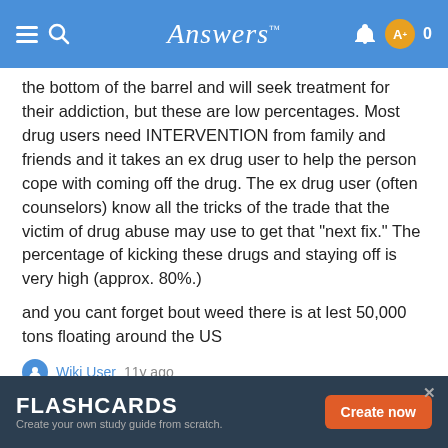Answers
the bottom of the barrel and will seek treatment for their addiction, but these are low percentages. Most drug users need INTERVENTION from family and friends and it takes an ex drug user to help the person cope with coming off the drug. The ex drug user (often counselors) know all the tricks of the trade that the victim of drug abuse may use to get that "next fix." The percentage of kicking these drugs and staying off is very high (approx. 80%.)
and you cant forget bout weed there is at lest 50,000 tons floating around the US
Wiki User 11y ago
This answer is:
FLASHCARDS Create your own study guide from scratch. Create now